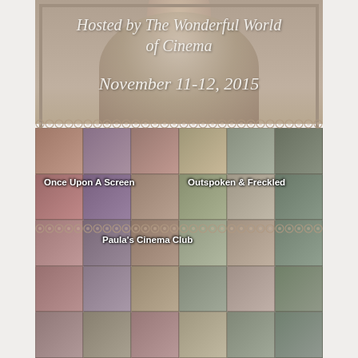[Figure (photo): Top banner with decorative lace border showing a vintage-style photograph of a person in background. Text overlay reads 'Hosted by The Wonderful World of Cinema' and 'November 11-12, 2015'. The border has a scalloped lace design.]
Hosted by The Wonderful World of Cinema
November 11-12, 2015
[Figure (photo): A large collage of vintage black-and-white portrait photographs of classic film character actors arranged in a 6x5 grid, with color tinting in pink/rose, green, and purple hues. Text overlays identify blogs: 'Once Upon A Screen', 'Outspoken & Freckled', and 'Paula's Cinema Club'.]
Once Upon A Screen
Outspoken & Freckled
Paula's Cinema Club